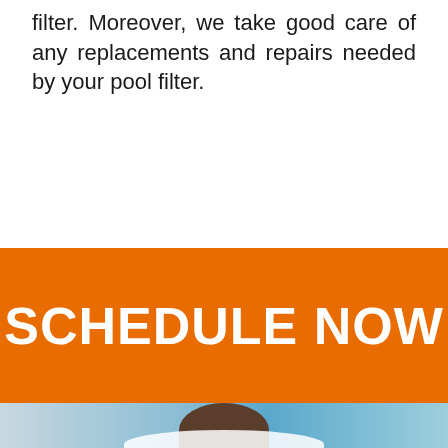filter. Moreover, we take good care of any replacements and repairs needed by your pool filter.
SCHEDULE NOW
[Figure (photo): Photo of a person near a swimming pool, partially visible at the bottom of the page]